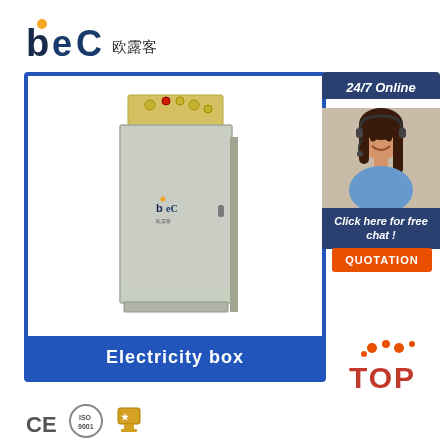[Figure (logo): BEC logo with orange dot accent and Chinese characters 欧露客]
[Figure (photo): Electricity box - grey metal electrical cabinet with terminals on top and BEC logo on door, shown in blue bordered frame with blue label bar reading 'Electricity box']
24/7 Online
Click here for free chat !
QUOTATION
[Figure (illustration): TOP with orange decorative dots above the letters]
[Figure (logo): CE certification mark, ISO 9001 certification seal, and a gold trophy/award icon]